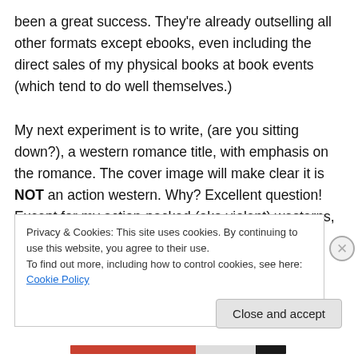been a great success. They're already outselling all other formats except ebooks, even including the direct sales of my physical books at book events (which tend to do well themselves.)

My next experiment is to write, (are you sitting down?), a western romance title, with emphasis on the romance. The cover image will make clear it is NOT an action western. Why? Excellent question! Except for my action-packed (aka violent) westerns, most of the buyers of all of my other genres are women. And when I display my top two
Privacy & Cookies: This site uses cookies. By continuing to use this website, you agree to their use.
To find out more, including how to control cookies, see here: Cookie Policy